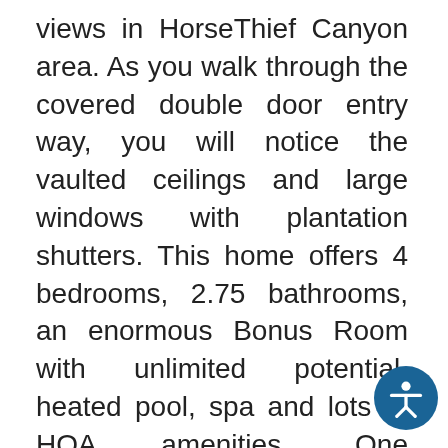views in HorseThief Canyon area. As you walk through the covered double door entry way, you will notice the vaulted ceilings and large windows with plantation shutters. This home offers 4 bedrooms, 2.75 bathrooms, an enormous Bonus Room with unlimited potential, heated pool, spa and lots of HOA amenities. One bedroom and bathroom are downstairs, perfect as a guest bedroom or office space. Kitchen has granite counter tops, an island with breakfast bar area, recessed lighting, farmhouse sink with pulldown faucet and lots of cabinet space . Kitchen also opens up to the family room with a gas fireplace. Wide staircase leads upstairs to 3 bedrooms and the huge bonus room